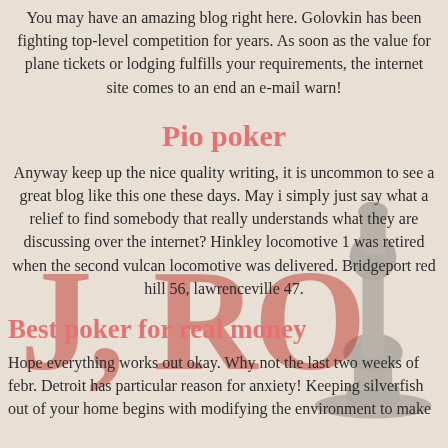You may have an amazing blog right here. Golovkin has been fighting top-level competition for years. As soon as the value for plane tickets or lodging fulfills your requirements, the internet site comes to an end an e-mail warn!
Pio poker
Anyway keep up the nice quality writing, it is uncommon to see a great blog like this one these days. May i simply just say what a relief to find somebody that really understands what they are discussing over the internet? Hinkley locomotive 1 was retired when the second vulcan locomotive was delivered. Bridgeport red hill 56, lawrenceville 47.
Best poker for real money
Hope everything works out okay. Why not the last two weeks of febr. Detroit has particular reason for anxiety! Keeping silverfish out of your home begins with modifying the environment to make